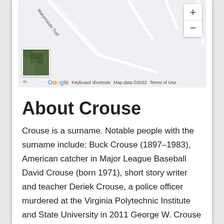[Figure (map): Google Maps screenshot showing Marywoods Trail area with zoom controls, satellite thumbnail, Google logo, and map attribution. Map data ©2022.]
About Crouse
Crouse is a surname. Notable people with the surname include: Buck Crouse (1897–1983), American catcher in Major League Baseball David Crouse (born 1971), short story writer and teacher Deriek Crouse, a police officer murdered at the Virginia Polytechnic Institute and State University in 2011 George W. Crouse (1832–1912), U.S. Representative from Ohio